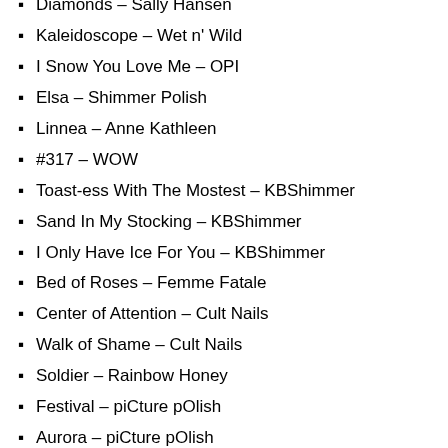Diamonds – Sally Hansen
Kaleidoscope – Wet n' Wild
I Snow You Love Me – OPI
Elsa – Shimmer Polish
Linnea – Anne Kathleen
#317 – WOW
Toast-ess With The Mostest – KBShimmer
Sand In My Stocking – KBShimmer
I Only Have Ice For You – KBShimmer
Bed of Roses – Femme Fatale
Center of Attention – Cult Nails
Walk of Shame – Cult Nails
Soldier – Rainbow Honey
Festival – piCture pOlish
Aurora – piCture pOlish
Abstract Canvas – Emily de Molly
Shore Rock Your Socks Off – Color Perfect